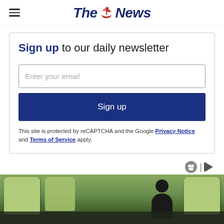The News
Sign up to our daily newsletter
Enter your email
Sign up
This site is protected by reCAPTCHA and the Google Privacy Notice and Terms of Service apply.
[Figure (photo): People sitting on a bus, viewed from behind, with green foliage visible through windows]